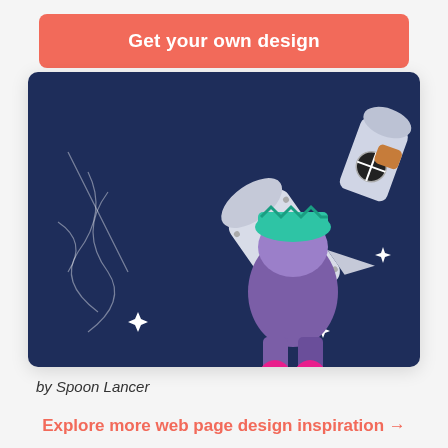Get your own design
[Figure (illustration): Cartoon character riding a rocket through space on a dark navy background, wearing sneakers and a green hat, with white sparkle stars around]
by Spoon Lancer
Explore more web page design inspiration →